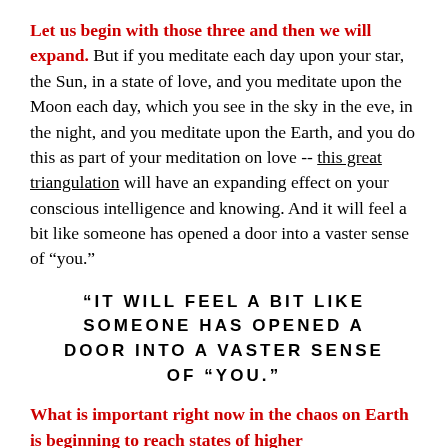Let us begin with those three and then we will expand. But if you meditate each day upon your star, the Sun, in a state of love, and you meditate upon the Moon each day, which you see in the sky in the eve, in the night, and you meditate upon the Earth, and you do this as part of your meditation on love -- this great triangulation will have an expanding effect on your conscious intelligence and knowing. And it will feel a bit like someone has opened a door into a vaster sense of "you."
"IT WILL FEEL A BIT LIKE SOMEONE HAS OPENED A DOOR INTO A VASTER SENSE OF "YOU.""
What is important right now in the chaos on Earth is beginning to reach states of higher